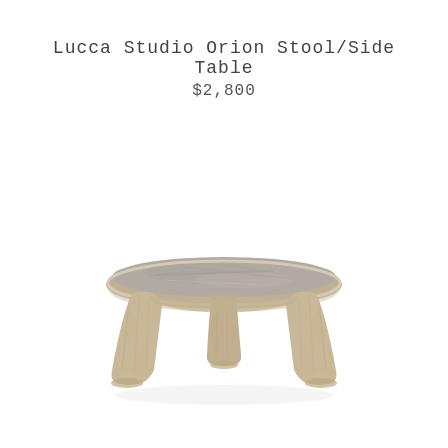Lucca Studio Orion Stool/Side Table
$2,800
[Figure (photo): A low round stool or side table with a gray stone/concrete circular top and three wide splayed natural wood legs with visible wood grain, photographed on white background.]